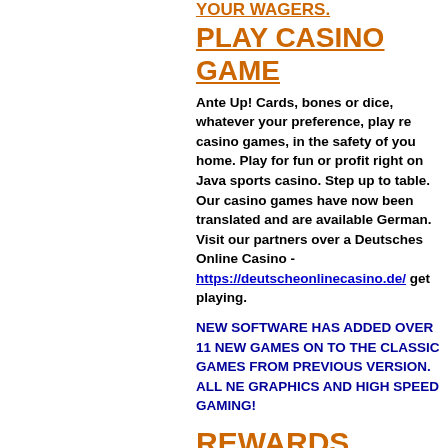YOUR WAGERS.
PLAY CASINO GAME
Ante Up! Cards, bones or dice, whatever your preference, play re casino games, in the safety of you home. Play for fun or profit right on Java sports casino. Step up to table. Our casino games have now been translated and are available German. Visit our partners over a Deutsches Online Casino - https://deutscheonlinecasino.de/ get playing.
NEW SOFTWARE HAS ADDED OVER 11 NEW GAMES ON TO THE CLASSIC GAMES FROM PREVIOUS VERSION. ALL NE GRAPHICS AND HIGH SPEED GAMING!
REWARDS PROGRAM
Each player who opens an accou begin to build points immediately. Once you open an account you ar automatically enrolled in the com